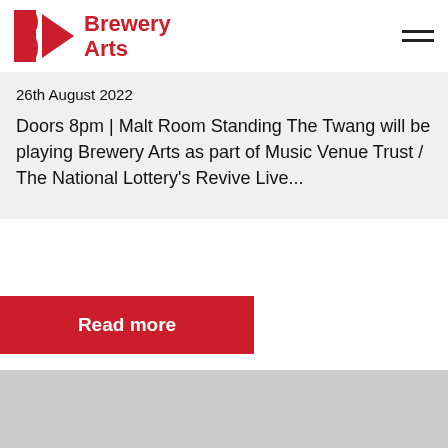Brewery Arts
26th August 2022
Doors 8pm | Malt Room Standing The Twang will be playing Brewery Arts as part of Music Venue Trust / The National Lottery's Revive Live...
Read more
[Figure (photo): Gray placeholder image at bottom of page]